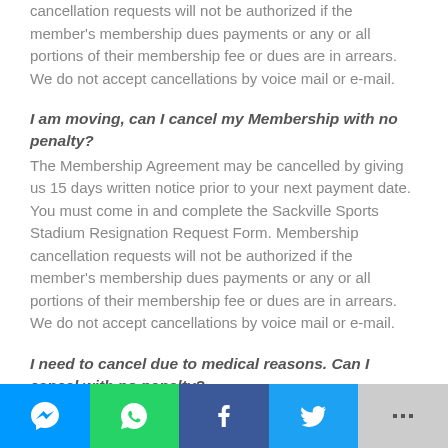cancellation requests will not be authorized if the member's membership dues payments or any or all portions of their membership fee or dues are in arrears. We do not accept cancellations by voice mail or e-mail.
I am moving, can I cancel my Membership with no penalty?
The Membership Agreement may be cancelled by giving us 15 days written notice prior to your next payment date. You must come in and complete the Sackville Sports Stadium Resignation Request Form. Membership cancellation requests will not be authorized if the member's membership dues payments or any or all portions of their membership fee or dues are in arrears. We do not accept cancellations by voice mail or e-mail.
I need to cancel due to medical reasons. Can I cancel with no penalty?
Share bar: Messenger, WhatsApp, Facebook, Twitter, More